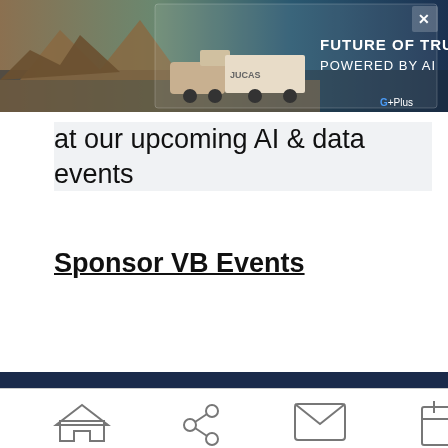[Figure (photo): Advertisement banner for 'Future of Trucking Powered by AI' by G+Plus, showing a truck on a desert road with an X close button]
at our upcoming AI & data events
Sponsor VB Events
[Figure (logo): VentureBeat VB logo in white and red on dark navy background]
[Figure (infographic): Social media icons: Facebook, Twitter, LinkedIn, RSS feed on dark navy background]
[Figure (infographic): Bottom navigation bar with home, share, email, calendar, and profile icons]